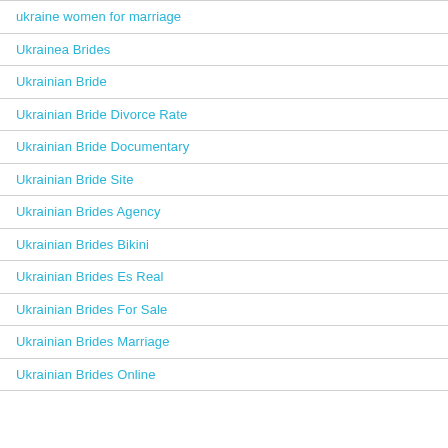ukraine women for marriage
Ukrainea Brides
Ukrainian Bride
Ukrainian Bride Divorce Rate
Ukrainian Bride Documentary
Ukrainian Bride Site
Ukrainian Brides Agency
Ukrainian Brides Bikini
Ukrainian Brides Es Real
Ukrainian Brides For Sale
Ukrainian Brides Marriage
Ukrainian Brides Online